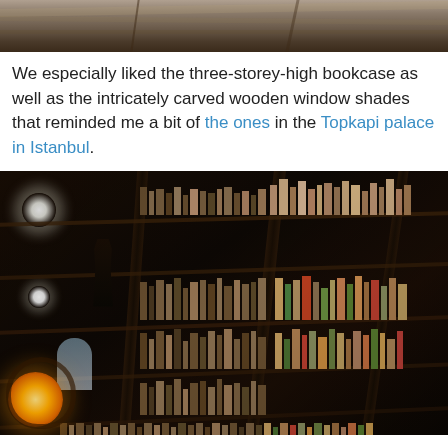[Figure (photo): Partial top photo of what appears to be a decorative ceiling or upper portion of an ornate interior, cropped at the top of the page.]
We especially liked the three-storey-high bookcase as well as the intricately carved wooden window shades that reminded me a bit of the ones in the Topkapi palace in Istanbul.
[Figure (photo): Interior photo of a tall dark wooden bookcase filled with old books spanning multiple stories, shot from a low angle looking up. A decorative lamp and arched window are visible at the bottom left.]